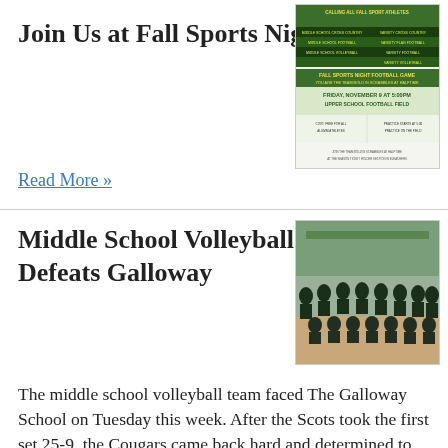Join Us at Fall Sports Night
[Figure (flyer): Fall Sports Night flyer with green and yellow text listing Middle School and Varsity sports including Cross Country, Football, Volleyball, Flag Football, Cheerleaders. Includes date and location details on football field.]
Read More »
Middle School Volleyball Defeats Galloway
[Figure (photo): Team photo of middle school volleyball team in dark green and black uniforms, posed in two rows on a gymnasium floor.]
The middle school volleyball team faced The Galloway School on Tuesday this week. After the Scots took the first set 25-9, the Cougars came back hard and determined to win. After taking an early lead and winning 25-21 in the second set, the middle school volleyball team kept the momentum up through the third set. The Cougars kept their lead unti...
Read More »